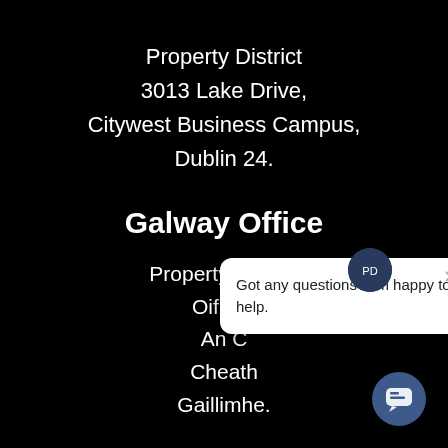Property District
3013 Lake Drive,
Citywest Business Campus,
Dublin 24.
Galway Office
Property District
Oifig U...
An C...
Cheath...
Gaillimhe.
[Figure (screenshot): Chat popup overlay with avatar logo, close button, and text 'Got any questions? I'm happy to help.' with a chat bubble button in the bottom right corner.]